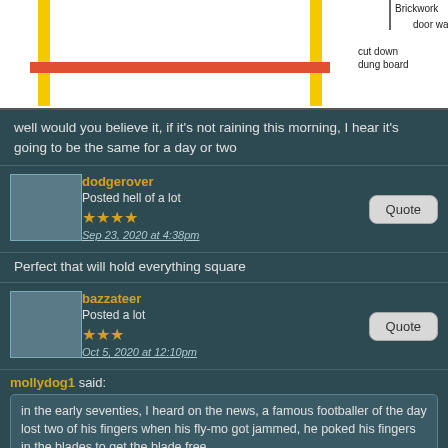[Figure (engineering-diagram): Engineering diagram showing a frame structure with yellow vertical posts, a horizontal orange/red beam, white background. Labels 'Brickwork', 'door way', 'cut down dung board' visible on right side.]
well would you believe it, if it's not raining this morning, I hear it's going to be the same for a day or two
dodgerover
Posted hell of a lot
★★★★
Sep 23, 2020 at 4:38pm
Perfect that will hold everything square
bazzateer
Posted a lot
★★★
Oct 5, 2020 at 12:10pm
mollydog1 said:
in the early seventies, I heard on the news, a famous footballer of the day lost two of his fingers when his fly-mo got jammed, he poked his fingers in the blades to get the blade free